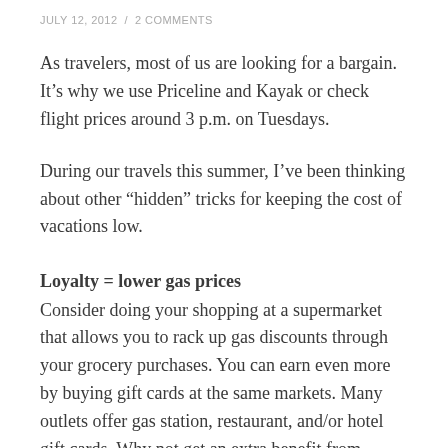JULY 12, 2012  /  2 COMMENTS
As travelers, most of us are looking for a bargain. It’s why we use Priceline and Kayak or check flight prices around 3 p.m. on Tuesdays.
During our travels this summer, I’ve been thinking about other “hidden” tricks for keeping the cost of vacations low.
Loyalty = lower gas prices
Consider doing your shopping at a supermarket that allows you to rack up gas discounts through your grocery purchases. You can earn even more by buying gift cards at the same markets. Many outlets offer gas station, restaurant, and/or hotel gift cards. Why not get an extra benefit from money you’re already planning to